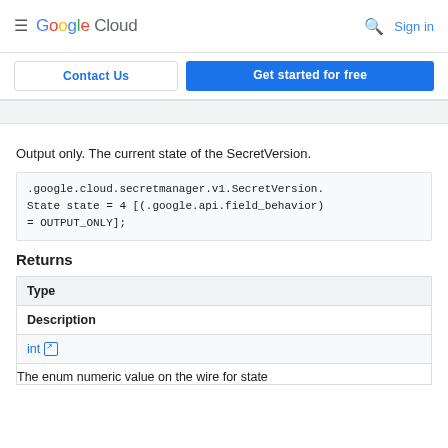Google Cloud — Sign in
Contact Us | Get started for free
Output only. The current state of the SecretVersion.
.google.cloud.secretmanager.v1.SecretVersion.State state = 4 [(.google.api.field_behavior) = OUTPUT_ONLY];
Returns
| Type | Description |
| --- | --- |
| int ↗ | The enum numeric value on the wire for state |
The enum numeric value on the wire for state